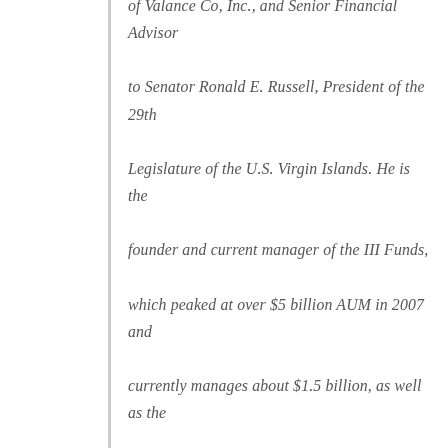of Valance Co, Inc., and Senior Financial Advisor to Senator Ronald E. Russell, President of the 29th Legislature of the U.S. Virgin Islands. He is the founder and current manager of the III Funds, which peaked at over $5 billion AUM in 2007 and currently manages about $1.5 billion, as well as the Founder and President of Mosler Automotive, which manufactures the MT900 sports car in Riviera Beach, Florida. Mr. Mosler has written a number of academic papers on issues relating to macroeconomics and monetary policy, and is the author of Seven Deadly Innocent Frauds of Economic Policy (2010). He maintains a personal